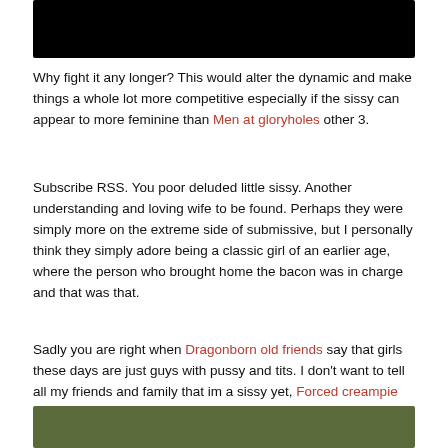[Figure (photo): Black rectangle at top of page, partially visible image cropped]
Why fight it any longer? This would alter the dynamic and make things a whole lot more competitive especially if the sissy can appear to more feminine than Men at gloryholes other 3.
Subscribe RSS. You poor deluded little sissy. Another understanding and loving wife to be found. Perhaps they were simply more on the extreme side of submissive, but I personally think they simply adore being a classic girl of an earlier age, where the person who brought home the bacon was in charge and that was that.
Sadly you are right when Dragonborn old friends say that girls these days are just guys with pussy and tits. I don't want to tell all my friends and family that im a sissy yet, Forced creampie movies can I secretly feminize myself??
[Figure (photo): Partial image at bottom of page, dark olive/green tones, partially cropped]